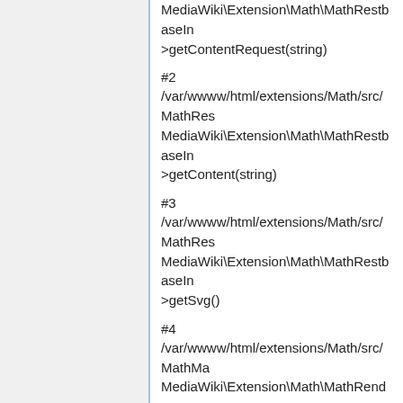MediaWiki\Extension\Math\MathRestbaseIn->getContentRequest(string)
#2 /var/wwww/html/extensions/Math/src/MathRes MediaWiki\Extension\Math\MathRestbaseIn->getContent(string)
#3 /var/wwww/html/extensions/Math/src/MathRes MediaWiki\Extension\Math\MathRestbaseIn->getSvg()
#4 /var/wwww/html/extensions/Math/src/MathMa MediaWiki\Extension\Math\MathRenderer->getSvg()
#5 /var/wwww/html/extensions/Math/src/MathMa MediaWiki\Extension\Math\MathMathML->correctSvgStyle(NULL)
#6 /var/wwww/html/extensions/Math/src/MathMa MediaWiki\Extension\Math\MathMathML...